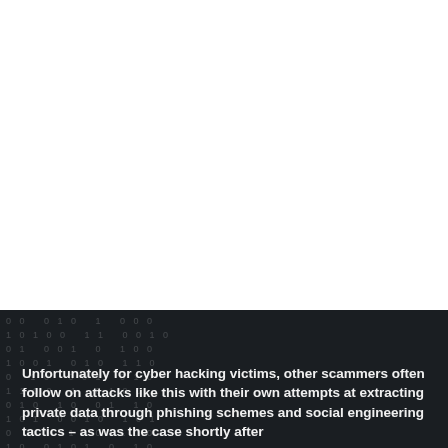[Figure (photo): Dark background image with binary digits (0s and 1s) scattered across a dark grey/black textured surface, occupying the bottom portion of the page. The top portion is white/blank.]
Unfortunately for cyber hacking victims, other scammers often follow on attacks like this with their own attempts at extracting private data through phishing schemes and social engineering tactics – as was the case shortly after